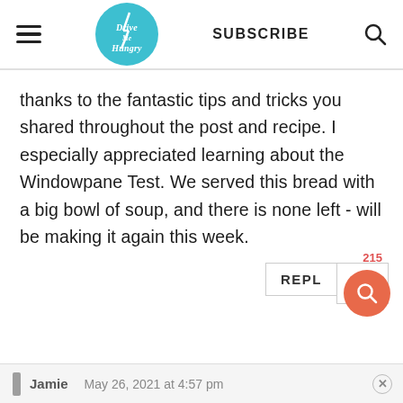Drive Me Hungry | SUBSCRIBE
thanks to the fantastic tips and tricks you shared throughout the post and recipe. I especially appreciated learning about the Windowpane Test. We served this bread with a big bowl of soup, and there is none left - will be making it again this week.
REPLY | 215 likes
Jamie  May 26, 2021 at 4:57 pm